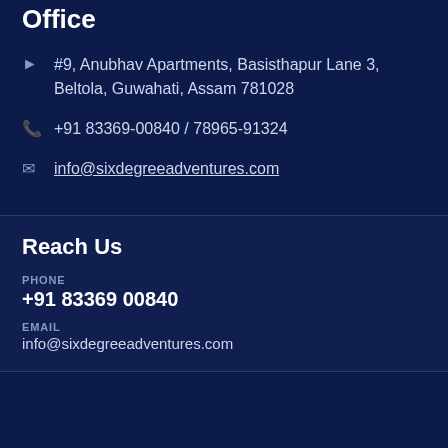Office
#9, Anubhav Apartments, Basisthapur Lane 3, Beltola, Guwahati, Assam 781028
+91 83369-00840 / 78965-91324
info@sixdegreeadventures.com
Reach Us
PHONE
+91 83369 00840
EMAIL
info@sixdegreeadventures.com